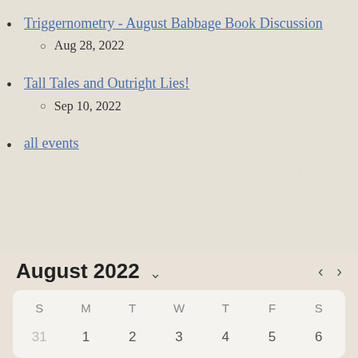Triggernometry - August Babbage Book Discussion
Aug 28, 2022
Tall Tales and Outright Lies!
Sep 10, 2022
all events
August 2022
| S | M | T | W | T | F | S |
| --- | --- | --- | --- | --- | --- | --- |
| 31 | 1 | 2 | 3 | 4 | 5 | 6 |